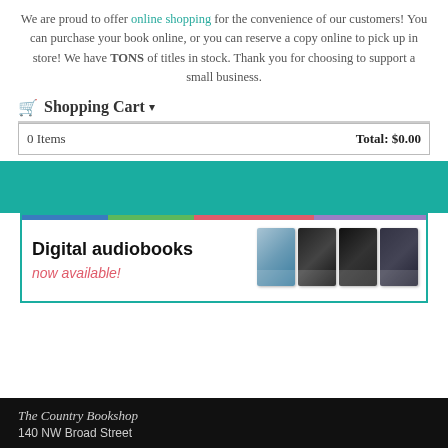We are proud to offer online shopping for the convenience of our customers! You can purchase your book online, or you can reserve a copy online to pick up in store! We have TONS of titles in stock. Thank you for choosing to support a small business.
🛒 Shopping Cart ▾
| 0 Items | Total: $0.00 |
[Figure (illustration): Digital audiobooks advertisement banner with book covers and earphones. Text reads 'Digital audiobooks now available!' with colorful top bar and four book cover images.]
The Country Bookshop
140 NW Broad Street